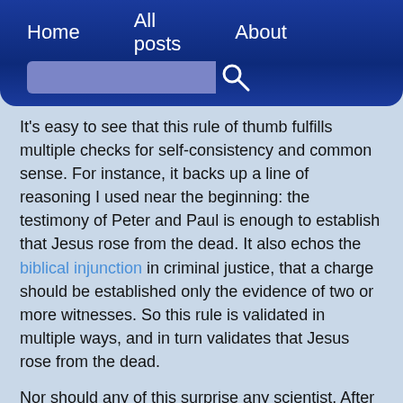Home   All posts   About
It's easy to see that this rule of thumb fulfills multiple checks for self-consistency and common sense. For instance, it backs up a line of reasoning I used near the beginning: the testimony of Peter and Paul is enough to establish that Jesus rose from the dead. It also echos the biblical injunction in criminal justice, that a charge should be established only the evidence of two or more witnesses. So this rule is validated in multiple ways, and in turn validates that Jesus rose from the dead.
Nor should any of this surprise any scientist. After all, this is how science works. Eddington's confirmation of general relativity is the epitome of the scientific method in operation. The skeptic's attitude - of